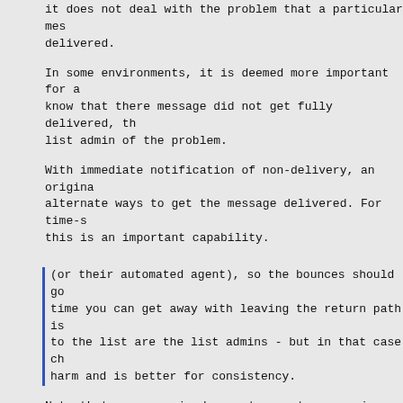it does not deal with the problem that a particular mes delivered.
In some environments, it is deemed more important for a know that there message did not get fully delivered, th list admin of the problem.
With immediate notification of non-delivery, an origina alternate ways to get the message delivered. For time-s this is an important capability.
(or their automated agent), so the bounces should go time you can get away with leaving the return path is to the list are the list admins - but in that case ch harm and is better for consistency.
Note that my scenario does not expect or require that t involve the list admin. It helps, but isn't required.
This reasoning also applies to fan-out aliases, which be careful about when you use them. Linear aliases ar
Yup.
d/
--